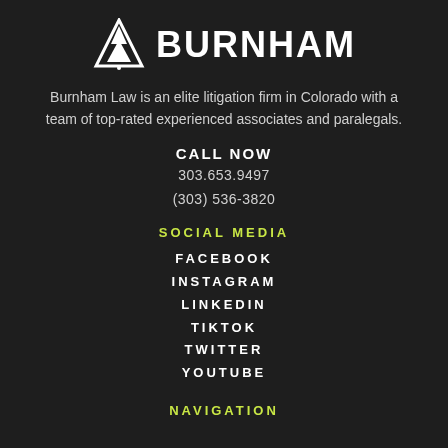[Figure (logo): Burnham Law logo with triangular arrow icon and bold text BURNHAM]
Burnham Law is an elite litigation firm in Colorado with a team of top-rated experienced associates and paralegals.
CALL NOW
303.653.9497
(303) 536-3820
SOCIAL MEDIA
FACEBOOK
INSTAGRAM
LINKEDIN
TIKTOK
TWITTER
YOUTUBE
NAVIGATION